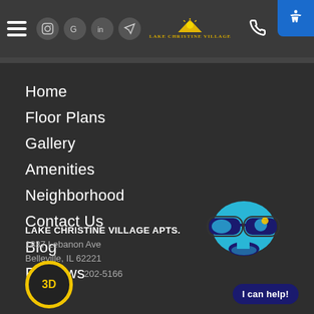Lake Christine Village - navigation header with hamburger menu, social icons, logo, phone, accessibility button
Home
Floor Plans
Gallery
Amenities
Neighborhood
Contact Us
Blog
Reviews
LAKE CHRISTINE VILLAGE APTS.
1837 Lebanon Ave
Belleville, IL 62221
202-5166
[Figure (illustration): Robot mascot with blue face, sunglasses, and I can help button]
[Figure (other): 3D circular button with yellow border]